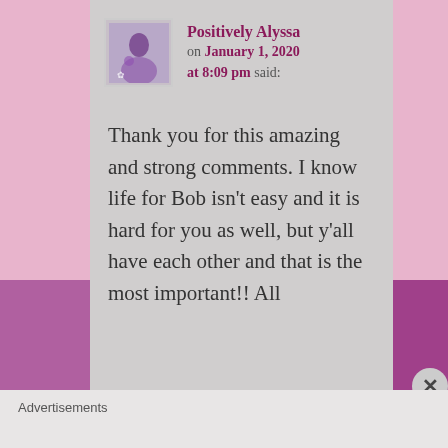Positively Alyssa on January 1, 2020 at 8:09 pm said:
Thank you for this amazing and strong comments. I know life for Bob isn't easy and it is hard for you as well, but y'all have each other and that is the most important!! All
Advertisements